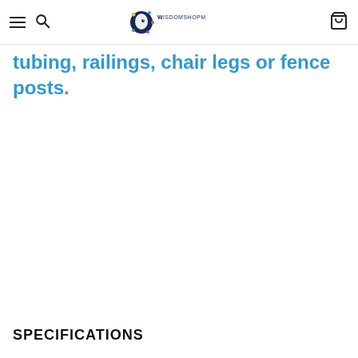WisdomShopM
tubing, railings, chair legs or fence posts.
SPECIFICATIONS